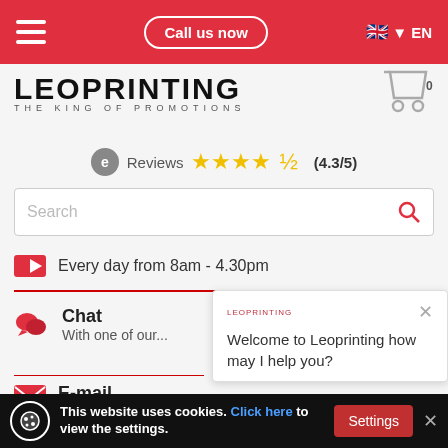[Figure (screenshot): Red navigation bar with hamburger menu, 'Call us now' button, and EN language selector with UK flag]
[Figure (logo): LEOPRINTING - THE KING OF PROMOTIONS logo with shopping cart icon showing 0 items]
Reviews ★★★★½ (4.3/5)
[Figure (screenshot): Search input bar with red magnifying glass icon]
Every day from 8am - 4.30pm
Chat
With one of our...
[Figure (screenshot): Chat popup from Leoprinting saying 'Welcome to Leoprinting how may I help you?' with X close button]
E-mail
contact@leoprinting.com
This website uses cookies. Click here to view the settings.